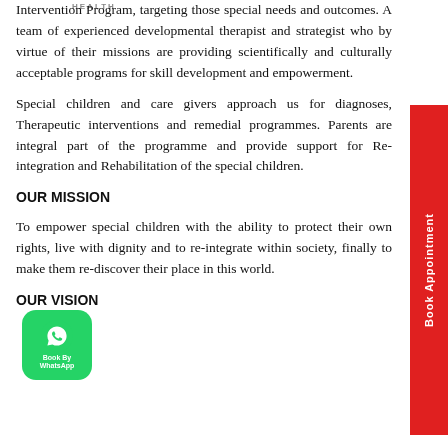HEALTH
Intervention Program, targeting those special needs and outcomes. A team of experienced developmental therapist and strategist who by virtue of their missions are providing scientifically and culturally acceptable programs for skill development and empowerment.
Special children and care givers approach us for diagnoses, Therapeutic interventions and remedial programmes. Parents are integral part of the programme and provide support for Re-integration and Rehabilitation of the special children.
OUR MISSION
To empower special children with the ability to protect their own rights, live with dignity and to re-integrate within society, finally to make them re-discover their place in this world.
OUR VISION